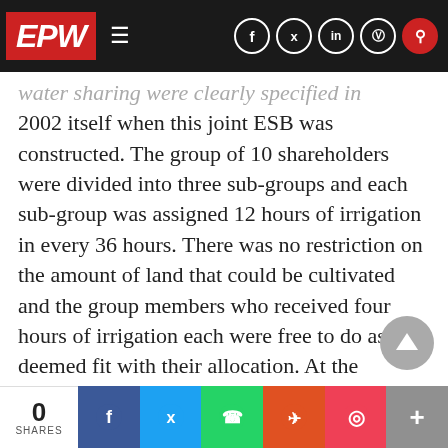EPW
water sharing were clearly specified in 2002 itself when this joint ESB was constructed. The group of 10 shareholders were divided into three sub-groups and each sub-group was assigned 12 hours of irrigation in every 36 hours. There was no restriction on the amount of land that could be cultivated and the group members who received four hours of irrigation each were free to do as they deemed fit with their allocation. At the beginning of the season (January-February) when water requirement for summer paddy is relatively low, each of the shareholders were required to take out 20 minutes from their allocated time and
0 SHARES | Facebook | Twitter | WhatsApp | Reddit | Pocket | More